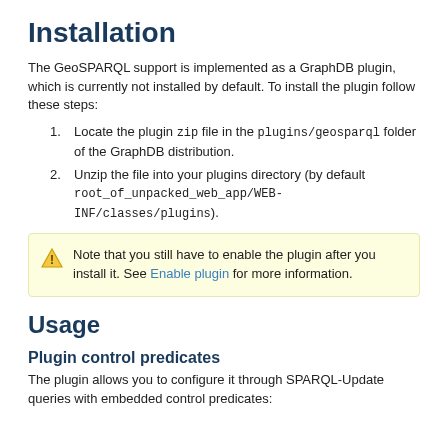Installation
The GeoSPARQL support is implemented as a GraphDB plugin, which is currently not installed by default. To install the plugin follow these steps:
1. Locate the plugin zip file in the plugins/geosparql folder of the GraphDB distribution.
2. Unzip the file into your plugins directory (by default root_of_unpacked_web_app/WEB-INF/classes/plugins).
Note that you still have to enable the plugin after you install it. See Enable plugin for more information.
Usage
Plugin control predicates
The plugin allows you to configure it through SPARQL-Update queries with embedded control predicates: